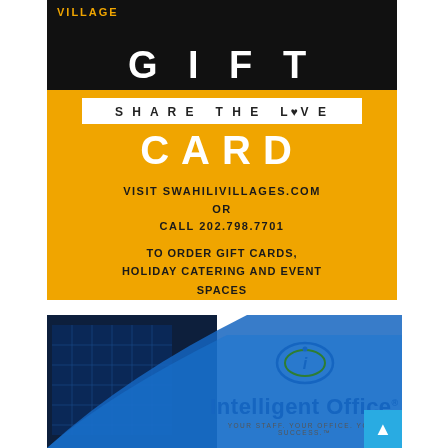[Figure (advertisement): Swahili Village Gift Card advertisement on black and gold background. Text reads: VILLAGE GIFT / SHARE THE LOVE / CARD / VISIT SWAHILIVILLAGES.COM OR CALL 202.798.7701 / TO ORDER GIFT CARDS, HOLIDAY CATERING AND EVENT SPACES]
[Figure (advertisement): Intelligent Office advertisement with blue building background, blue swoosh design, logo with circular i symbol, company name Intelligent Office, tagline YOUR STAFF. YOUR OFFICE. YOUR SUCCESS.]